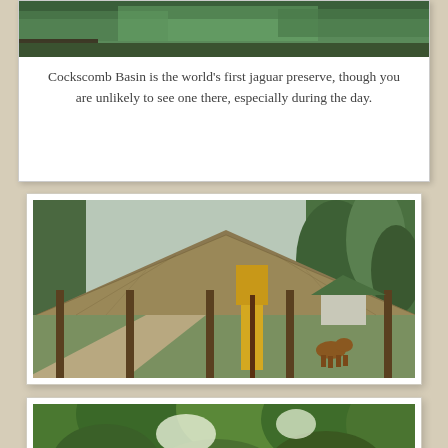[Figure (photo): Partial view of tropical forest/vegetation, top portion of page inside white card]
Cockscomb Basin is the world's first jaguar preserve, though you are unlikely to see one there, especially during the day.
[Figure (photo): A large thatched-roof open-sided building/palapa in a jungle clearing with green lawn, a yellow sign post, small green-roofed structure in background, and a coati or similar animal grazing on the right side]
[Figure (photo): Dense tropical jungle canopy with sunlight filtering through green tree leaves and foliage]